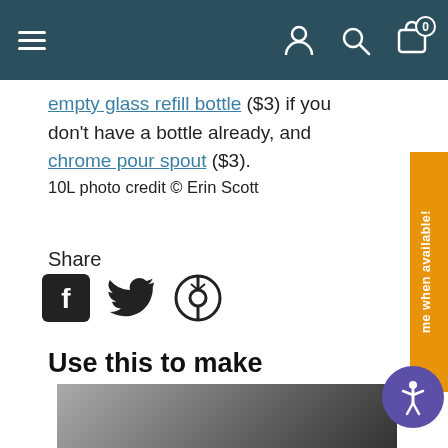Navigation bar with menu, user, search, and cart (0) icons
empty glass refill bottle ($3) if you don't have a bottle already, and chrome pour spout ($3).
10L photo credit © Erin Scott
Share
[Figure (illustration): Social share icons: Facebook, Twitter, Pinterest]
Use this to make
[Figure (photo): Partial photo of a dark object, bottom of page]
me when available!